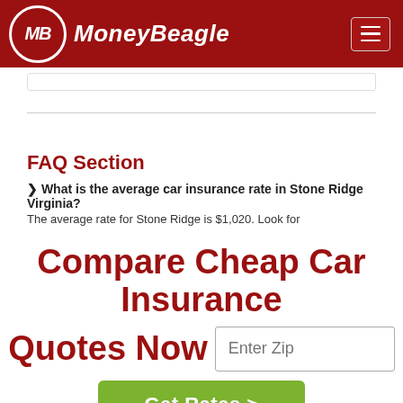[Figure (logo): MoneyBeagle logo with MB circle emblem on dark red header, with hamburger menu button top right]
FAQ Section
❯ What is the average car insurance rate in Stone Ridge Virginia?
The average rate for Stone Ridge is $1,020. Look for
Compare Cheap Car Insurance Quotes Now
Enter Zip
Get Rates >